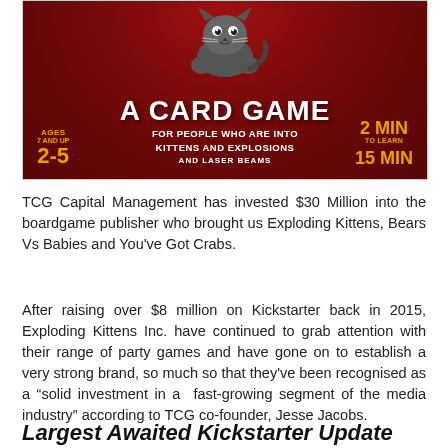[Figure (illustration): Exploding Kittens card game box art on a dark red background. Features a cartoon grey cat at the top center. Text reads 'A CARD GAME FOR PEOPLE WHO ARE INTO KITTENS AND EXPLOSIONS AND LASER BEAMS'. Left side shows 'AGES 7 AND UP 2-5'. Right side shows '2 MIN TO LEARN 15 MIN'.]
TCG Capital Management has invested $30 Million into the boardgame publisher who brought us Exploding Kittens, Bears Vs Babies and You've Got Crabs.
After raising over $8 million on Kickstarter back in 2015, Exploding Kittens Inc. have continued to grab attention with their range of party games and have gone on to establish a very strong brand, so much so that they've been recognised as a “solid investment in a  fast-growing segment of the media industry” according to TCG co-founder, Jesse Jacobs.
Largest Awaited Kickstarter Update